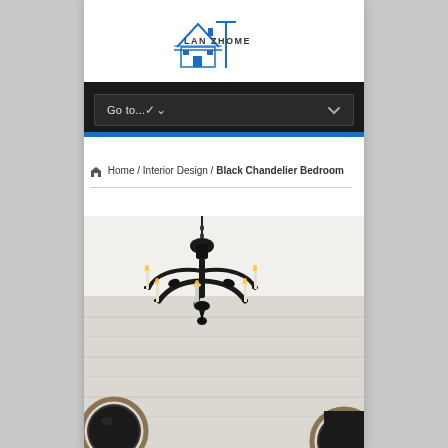[Figure (logo): LAN ZHOME logo with blue house/roof icon and horizontal lines beneath text]
[Figure (screenshot): Navigation dropdown bar with dark background showing 'Go to...' and chevron, with blue accent bar at bottom]
Home / Interior Design / Black Chandelier Bedroom
[Figure (photo): Photo of an ornate black candelabra-style chandelier hanging from ceiling in a room with light walls and round mirrors]